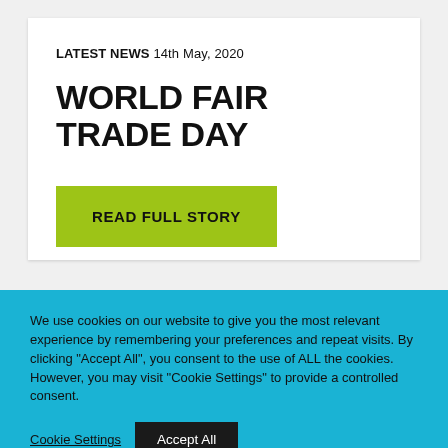LATEST NEWS 14th May, 2020
WORLD FAIR TRADE DAY
READ FULL STORY
We use cookies on our website to give you the most relevant experience by remembering your preferences and repeat visits. By clicking “Accept All”, you consent to the use of ALL the cookies. However, you may visit "Cookie Settings" to provide a controlled consent.
Cookie Settings | Accept All